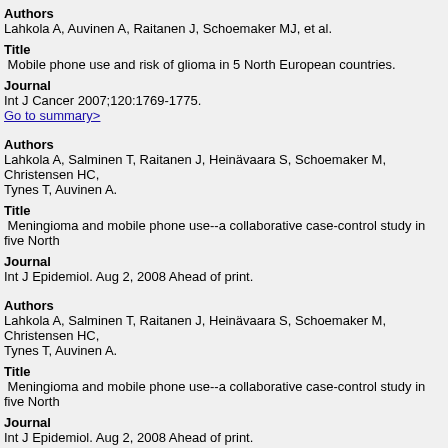Authors
Lahkola A, Auvinen A, Raitanen J, Schoemaker MJ, et al.
Title
Mobile phone use and risk of glioma in 5 North European countries.
Journal
Int J Cancer 2007;120:1769-1775.
Go to summary>
Authors
Lahkola A, Salminen T, Raitanen J, Heinävaara S, Schoemaker M, Christensen HC, Tynes T, Auvinen A.
Title
Meningioma and mobile phone use--a collaborative case-control study in five North
Journal
Int J Epidemiol. Aug 2, 2008 Ahead of print.
Authors
Lahkola A, Salminen T, Raitanen J, Heinävaara S, Schoemaker M, Christensen HC, Tynes T, Auvinen A.
Title
Meningioma and mobile phone use--a collaborative case-control study in five North
Journal
Int J Epidemiol. Aug 2, 2008 Ahead of print.
Authors
Lehrer S, Green S, Stock RG.
Title
Association between number of cell phone contracts and brain tumor incidence in nin
Journal
J Neurooncol. Jun 30 2010. Ahead of print.
Authors
Landrohe M, Erick U, Haynes S, Usiah S, Langruth R.